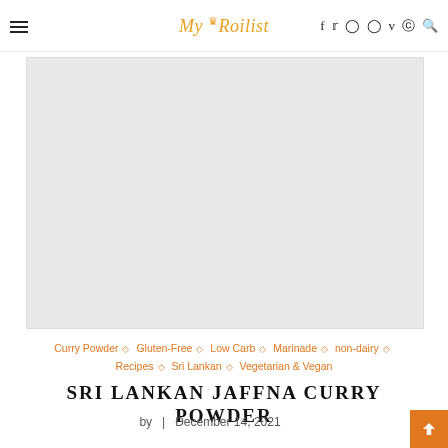☰  My Roilist  f  twitter  instagram  pinterest  vimeo  reddit  search
[Figure (photo): Large gray placeholder image for Sri Lankan Jaffna Curry Powder recipe hero image]
Curry Powder ◇ Gluten-Free ◇ Low Carb ◇ Marinade ◇ non-dairy ◇ Recipes ◇ Sri Lankan ◇ Vegetarian & Vegan
SRI LANKAN JAFFNA CURRY POWDER
by  |  December 14, 2021